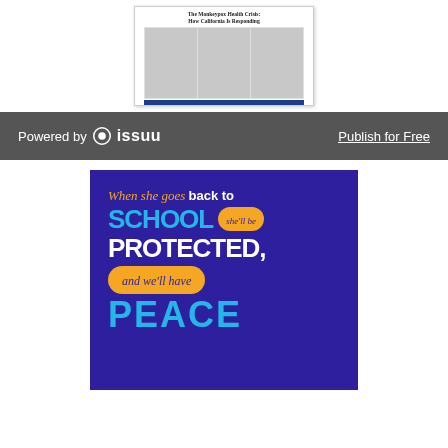[Figure (screenshot): Thumbnail of a document titled 'The Monkeypox Health Crisis: How California Is Responding' showing a newspaper-style multi-column layout with a blue bar at the bottom]
[Figure (infographic): Issuu powered-by banner bar in dark gray with Issuu logo on the left and 'Publish for Free' link on the right]
[Figure (infographic): Purple promotional graphic with text: 'When she goes back to SCHOOL (she'll be) PROTECTED, and we'll have PEACE' in mixed script, bold white, cyan, and yellow badge styling]